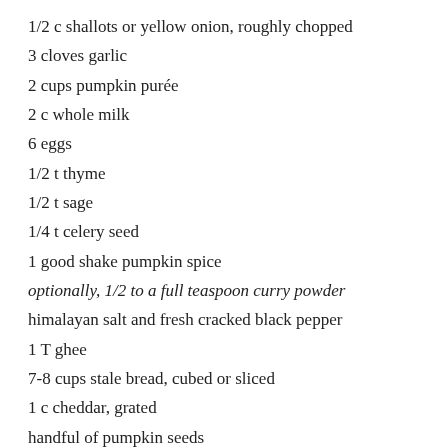1/2 c shallots or yellow onion, roughly chopped
3 cloves garlic
2 cups pumpkin purée
2 c whole milk
6 eggs
1/2 t thyme
1/2 t sage
1/4 t celery seed
1 good shake pumpkin spice
optionally, 1/2 to a full teaspoon curry powder
himalayan salt and fresh cracked black pepper
1 T ghee
7-8 cups stale bread, cubed or sliced
1 c cheddar, grated
handful of pumpkin seeds
1/2 c parmesan cheese, grated